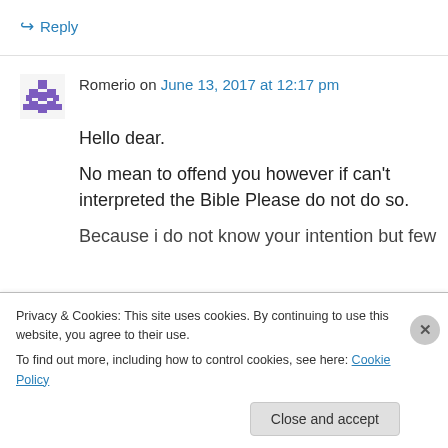↪ Reply
Romerio on June 13, 2017 at 12:17 pm
Hello dear.
No mean to offend you however if can't interpreted the Bible Please do not do so.
Because i do not know your intention but few
Privacy & Cookies: This site uses cookies. By continuing to use this website, you agree to their use.
To find out more, including how to control cookies, see here: Cookie Policy
Close and accept